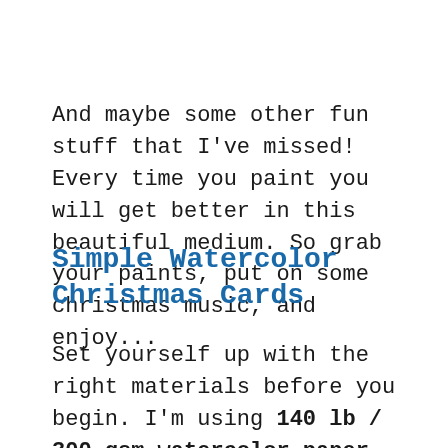And maybe some other fun stuff that I've missed! Every time you paint you will get better in this beautiful medium. So grab your paints, put on some christmas music, and enjoy...
Simple Watercolor Christmas Cards
Set yourself up with the right materials before you begin. I'm using 140 lb / 300 gsm watercolor paper for these cards. This is thick enough to make decent cards and also won't buckle very much. Anything thinner is probably a bit flimsy. The simplest way to make the cards